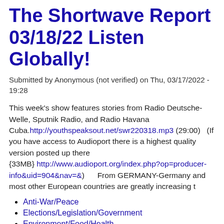The Shortwave Report 03/18/22 Listen Globally!
Submitted by Anonymous (not verified) on Thu, 03/17/2022 - 19:28
This week's show features stories from Radio Deutsche-Welle, Sputnik Radio, and Radio Havana Cuba. http://youthspeaksout.net/swr220318.mp3 (29:00)   (If you have access to Audioport there is a highest quality version posted up there {33MB} http://www.audioport.org/index.php?op=producer-info&uid=904&nav=&)      From GERMANY-Germany and most other European countries are greatly increasing t
Anti-War/Peace
Elections/Legislation/Government
Environment/Food/Health